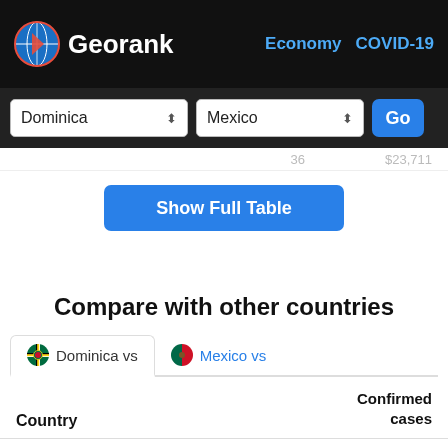Georank | Economy | COVID-19
Dominica | Mexico | Go
36   $23,711
Show Full Table
Compare with other countries
Dominica vs | Mexico vs
| Country | Confirmed cases |
| --- | --- |